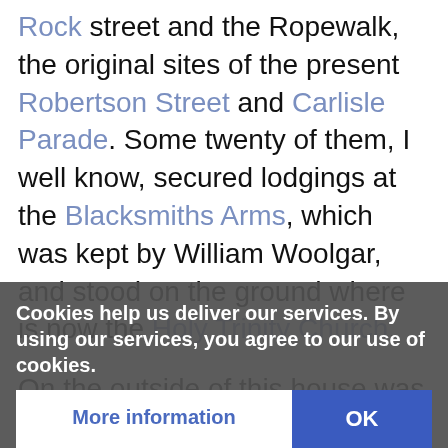Rock street and the Ropewalk, the original sites of the present Robertson Street and Carlisle Parade. Some twenty of them, I well know, secured lodgings at the Blacksmiths Arms, which was kept by William Woolgar, and stood on the ground where is now the Holy Trinity Church.
On the outside of this house was an artistically painted sign from the brush of Mr. G. Honiss, who after this sustained the wear of life for more than half a century. On the said sign-board was the motto "By hammer and hand all arts do stand". In that same public house and over the bar was written "My beer is good, my charge
Cookies help us deliver our services. By using our services, you agree to our use of cookies.
More information | OK